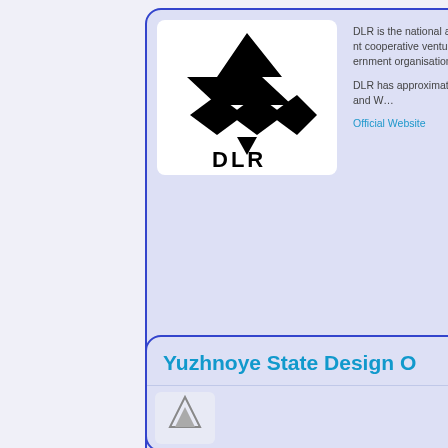[Figure (logo): DLR logo - geometric interlocking diamond/arrow shapes in black with DLR text below]
DLR is the national aeronautics and development centre, cooperative venture with the federal government, organisation for...
DLR has approximately Braunschweig, Trauen, and W...
Official Website
Yuzhnoye State Design O
[Figure (logo): Partial logo visible at bottom]